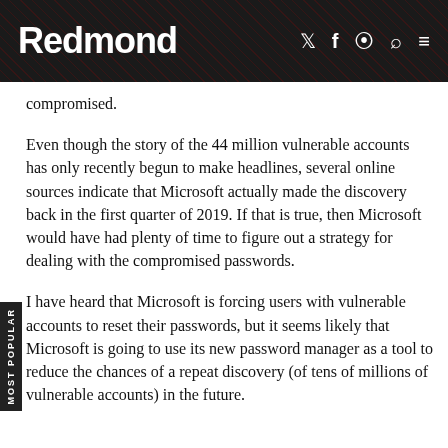Redmond
compromised.
Even though the story of the 44 million vulnerable accounts has only recently begun to make headlines, several online sources indicate that Microsoft actually made the discovery back in the first quarter of 2019. If that is true, then Microsoft would have had plenty of time to figure out a strategy for dealing with the compromised passwords.
I have heard that Microsoft is forcing users with vulnerable accounts to reset their passwords, but it seems likely that Microsoft is going to use its new password manager as a tool to reduce the chances of a repeat discovery (of tens of millions of vulnerable accounts) in the future.